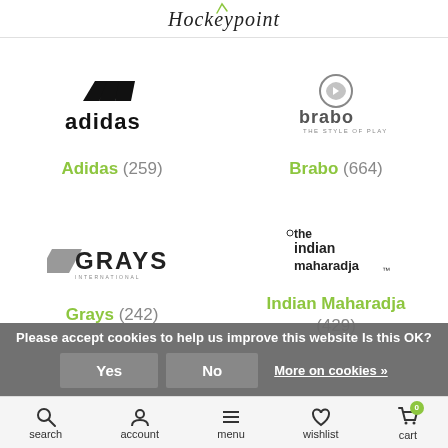Hockeypoint
[Figure (logo): Adidas logo (three stripes) with text 'adidas']
Adidas (259)
[Figure (logo): Brabo logo with circular icon and text 'brabo THE STYLE OF PLAY']
Brabo (664)
[Figure (logo): Grays logo with parallelogram and text 'GRAYS']
Grays (242)
[Figure (logo): The Indian Maharadja logo with text 'the indian maharadja']
Indian Maharadja (429)
Please accept cookies to help us improve this website Is this OK?
search  account  menu  wishlist  cart